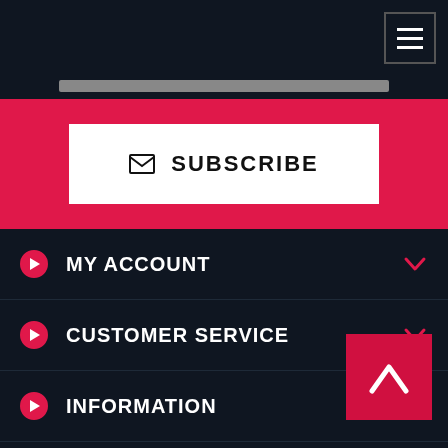[Figure (screenshot): Hamburger menu icon (three horizontal lines) in a bordered box, top-right corner]
[Figure (screenshot): Red subscription banner with white SUBSCRIBE button containing envelope icon]
MY ACCOUNT
CUSTOMER SERVICE
INFORMATION
FOLLOW US
PAYMENT METHODS